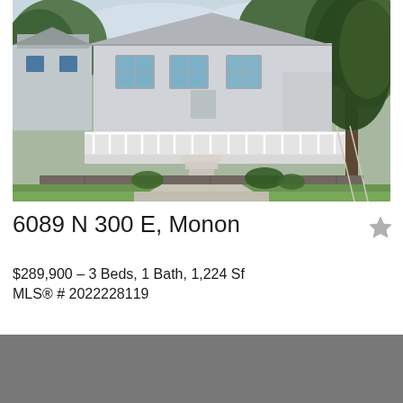[Figure (photo): Exterior photo of a small white/gray house with a white front deck and railing, stone retaining wall, driveway, surrounded by trees and lawn.]
6089 N 300 E, Monon
$289,900 – 3 Beds, 1 Bath, 1,224 Sf
MLS® # 2022228119
[Figure (photo): Partially visible gray/dark image at the bottom of the page (cut off).]